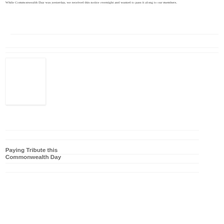While Commonwealth Day was yesterday, we received this notice overnight and wanted to pass it along to our members.
[Figure (photo): Blank white image placeholder with light border and shadow]
Paying Tribute this Commonwealth Day